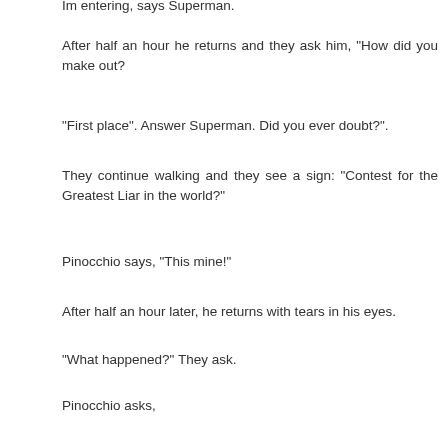Im entering, says Superman.
After half an hour he returns and they ask him, "How did you make out?
"First place". Answer Superman. Did you ever doubt?".
They continue walking and they see a sign: "Contest for the Greatest Liar in the world?"
Pinocchio says, "This mine!"
After half an hour later, he returns with tears in his eyes.
"What happened?" They ask.
Pinocchio asks,
"Who the hell is Najib??"
Zack
Reply